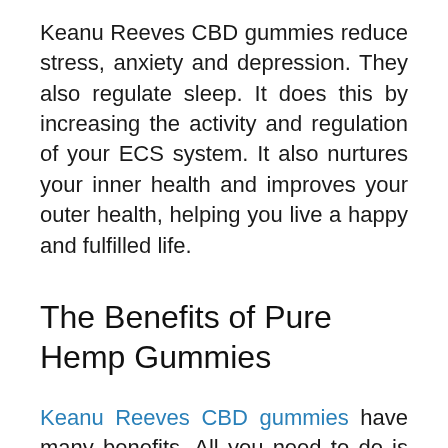Keanu Reeves CBD gummies reduce stress, anxiety and depression. They also regulate sleep. It does this by increasing the activity and regulation of your ECS system. It also nurtures your inner health and improves your outer health, helping you live a happy and fulfilled life.
The Benefits of Pure Hemp Gummies
Keanu Reeves CBD gummies have many benefits. All you need to do is to eat them according the daily